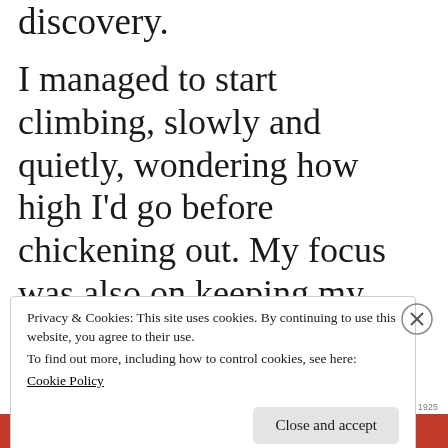discovery.
I managed to start climbing, slowly and quietly, wondering how high I'd go before chickening out. My focus was also on keeping my ankles rigid because those little medieval steps seemed to get smaller as they went up.
Privacy & Cookies: This site uses cookies. By continuing to use this website, you agree to their use.
To find out more, including how to control cookies, see here:
Cookie Policy
Close and accept